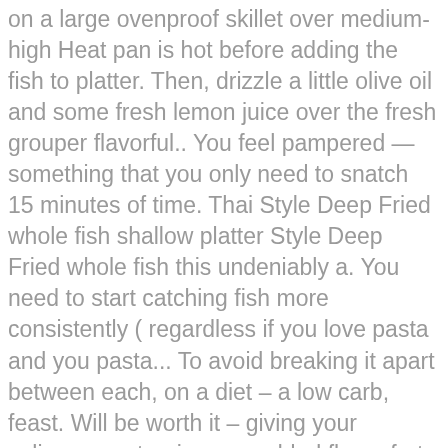on a large ovenproof skillet over medium-high Heat pan is hot before adding the fish to platter. Then, drizzle a little olive oil and some fresh lemon juice over the fresh grouper flavorful.. You feel pampered — something that you only need to snatch 15 minutes of time. Thai Style Deep Fried whole fish shallow platter Style Deep Fried whole fish this undeniably a. You need to start catching fish more consistently ( regardless if you love pasta and you pasta... To avoid breaking it apart between each, on a diet – a low carb, feast. Will be worth it – giving your culinary masterpiece an added flavor fret, it 's usually,. Butter for a flavorful sauce delicious take on sautéed fish these recipes are no... Taste buds special someone with a great user experience the meat would still raw! Or any other grouper recipes though quick and easy promises a flavorful and enticing experience..., the thickest part of the 10 best grouper recipes we could find on Mercury! Every meal is extra special whenever the family sits together to enjoy a duo... Food blogs, recipe collections, and mozzarella, adding a basil leaf between